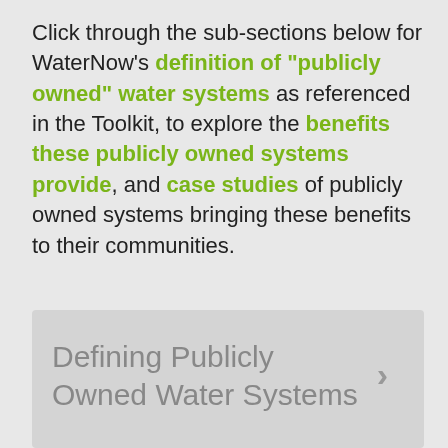Click through the sub-sections below for WaterNow's definition of "publicly owned" water systems as referenced in the Toolkit, to explore the benefits these publicly owned systems provide, and case studies of publicly owned systems bringing these benefits to their communities.
Defining Publicly Owned Water Systems >